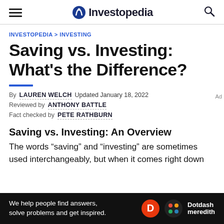Investopedia
INVESTOPEDIA > INVESTING
Saving vs. Investing: What's the Difference?
By LAUREN WELCH  Updated January 18, 2022
Reviewed by ANTHONY BATTLE
Fact checked by PETE RATHBURN
Saving vs. Investing: An Overview
The words “saving” and “investing” are sometimes used interchangeably, but when it comes right down
[Figure (other): Dotdash Meredith advertisement banner at bottom of page: 'We help people find answers, solve problems and get inspired.']